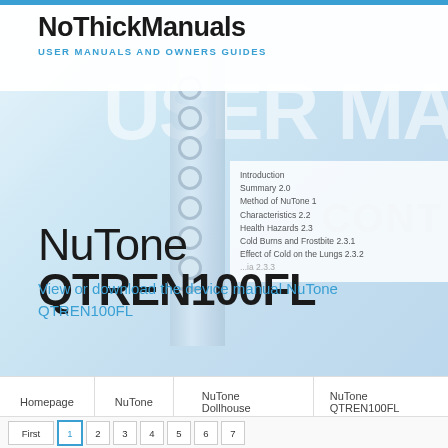NoThickManuals USER MANUALS AND OWNERS GUIDES
[Figure (photo): Background hero image showing a printed user manual with binder spine and table of contents visible, with text USER MA and CONT partially visible]
NuTone QTREN100FL
View or download the device manual NuTone QTREN100FL
| Homepage | NuTone | NuTone Dollhouse | NuTone QTREN100FL |
| --- | --- | --- | --- |
NuTone QTREN100FL User Manual
| First | 1 | 2 | 3 | 4 | 5 | 6 | 7 |
| --- | --- | --- | --- | --- | --- | --- | --- |